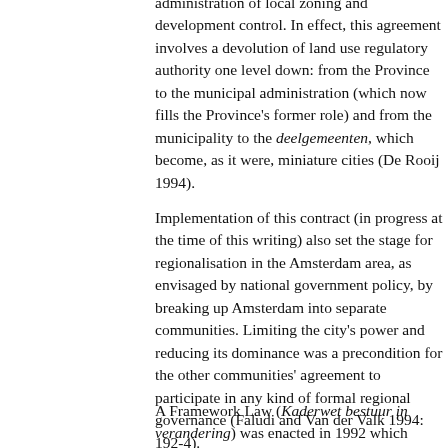administration of local zoning and development control. In effect, this agreement involves a devolution of land use regulatory authority one level down: from the Province to the municipal administration (which now fills the Province's former role) and from the municipality to the deelgemeenten, which become, as it were, miniature cities (De Rooij 1994).
Implementation of this contract (in progress at the time of this writing) also set the stage for regionalisation in the Amsterdam area, as envisaged by national government policy, by breaking up Amsterdam into separate communities. Limiting the city's power and reducing its dominance was a precondition for the other communities' agreement to participate in any kind of formal regional governance (Faludi and Van der Valk 1994: 192-4).
A Framework Law (Kaderwet bestuur in verandering) was enacted in 1992 which